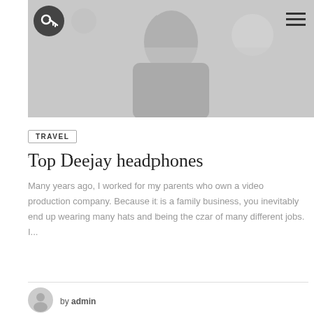[Figure (photo): Grayscale hero image of a person, partially visible, used as blog post header image. Dark circular logo with key icon in top-left corner. Hamburger menu icon in top-right.]
TRAVEL
Top Deejay headphones
Many years ago, I worked for my parents who own a video production company. Because it is a family business, you inevitably end up wearing many hats and being the czar of many different jobs. I...
by admin